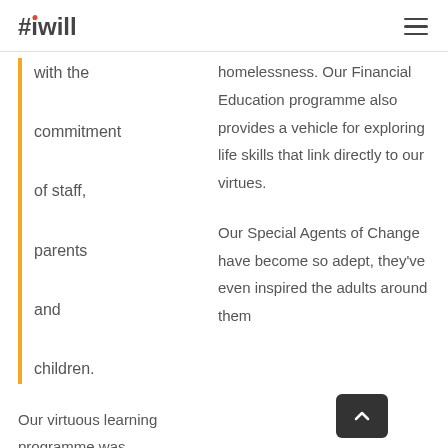#iwill
with the commitment of staff, parents and children.
homelessness. Our Financial Education programme also provides a vehicle for exploring life skills that link directly to our virtues.
Our virtuous learning programme was influenced by a range of Continuing Professional
Our Special Agents of Change have become so adept, they've even inspired the adults around them